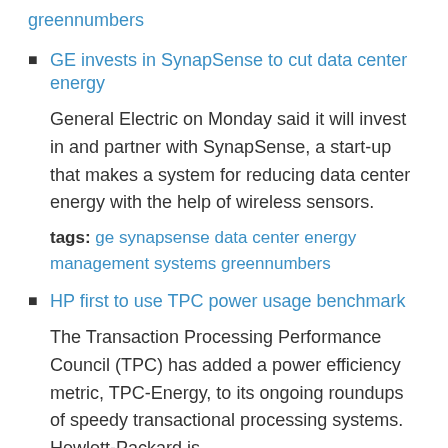greennumbers
GE invests in SynapSense to cut data center energy
General Electric on Monday said it will invest in and partner with SynapSense, a start-up that makes a system for reducing data center energy with the help of wireless sensors.
tags: ge synapsense data center energy management systems greennumbers
HP first to use TPC power usage benchmark
The Transaction Processing Performance Council (TPC) has added a power efficiency metric, TPC-Energy, to its ongoing roundups of speedy transactional processing systems. Hewlett-Packard is